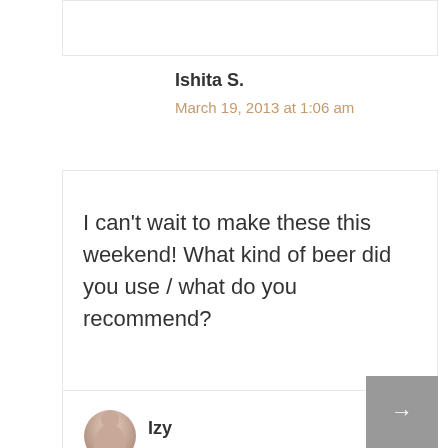Ishita S.
March 19, 2013 at 1:06 am
I can't wait to make these this weekend! What kind of beer did you use / what do you recommend?
Izy